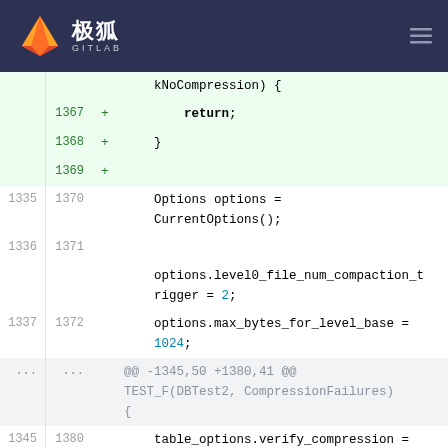极狐 GITLAB
[Figure (screenshot): GitLab code diff view showing C++ code changes around lines 1335-1382, with added lines (+) highlighted in green for return; }, and context lines showing Options, options.level0_file_num_compaction_trigger, options.max_bytes_for_level_base, table_options.verify_compression, options.table_factory.reset(new BlockBasedTableFactory(table_options));]